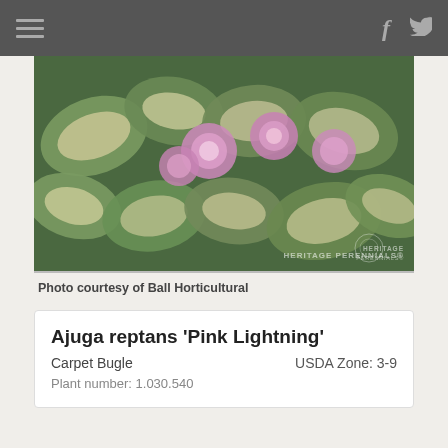Navigation bar with hamburger menu, Facebook icon, Twitter icon
[Figure (photo): Close-up photo of Ajuga reptans 'Pink Lightning' plant showing variegated green and cream leaves with pink/purple flowers. Heritage Perennials® watermark visible in lower right corner.]
Photo courtesy of Ball Horticultural
Ajuga reptans 'Pink Lightning'
Carpet Bugle
USDA Zone: 3-9
Plant number: 1.030.540